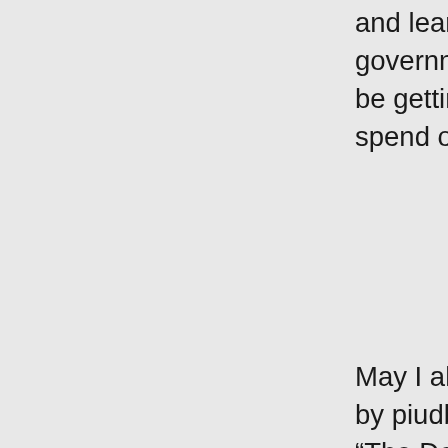and learn which branches of government (including the DPWH) will be getting how much of our money to spend on public services.
May I also mention the fact as posted by piudbm in News 2 days ago that “The Department of Budget and Management (DBM) today celebrated the results of the 2015 Open Budget Survey (OBS), which gave the Philippines the highest score for budget transparency in Southeast Asia"